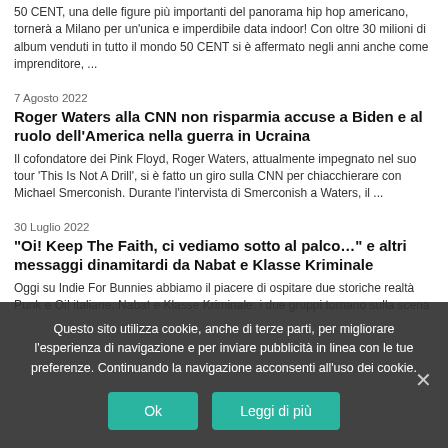50 CENT, una delle figure più importanti del panorama hip hop americano, tornerà a Milano per un'unica e imperdibile data indoor! Con oltre 30 milioni di album venduti in tutto il mondo 50 CENT si è affermato negli anni anche come imprenditore, ...
7 Agosto 2022
Roger Waters alla CNN non risparmia accuse a Biden e al ruolo dell'America nella guerra in Ucraina
Il cofondatore dei Pink Floyd, Roger Waters, attualmente impegnato nel suo tour 'This Is Not A Drill', si è fatto un giro sulla CNN per chiacchierare con Michael Smerconish. Durante l'intervista di Smerconish a Waters, il ...
30 Luglio 2022
“Oi! Keep The Faith, ci vediamo sotto al palco…” e altri messaggi dinamitardi da Nabat e Klasse Kriminale
Oggi su Indie For Bunnies abbiamo il piacere di ospitare due storiche realtà Punk e Oi! italiane: Nabat e Klasse Kriminale: i due gruppi tornano sulla scena
Questo sito utilizza cookie, anche di terze parti, per migliorare l'esperienza di navigazione e per inviare pubblicità in linea con le tue preferenze. Continuando la navigazione acconsenti all'uso dei cookie.